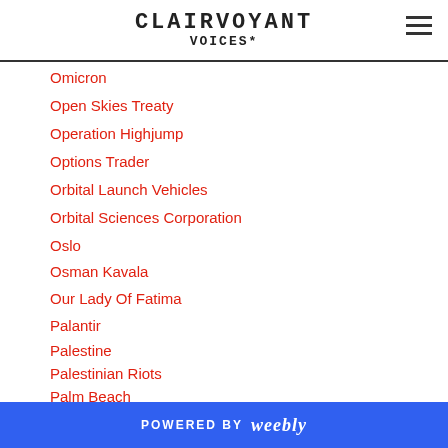CLAIRVOYANT
Omicron
Open Skies Treaty
Operation Highjump
Options Trader
Orbital Launch Vehicles
Orbital Sciences Corporation
Oslo
Osman Kavala
Our Lady Of Fatima
Palantir
Palestine
Palestinian Riots
Palm Beach
Pandemic
POWERED BY weebly